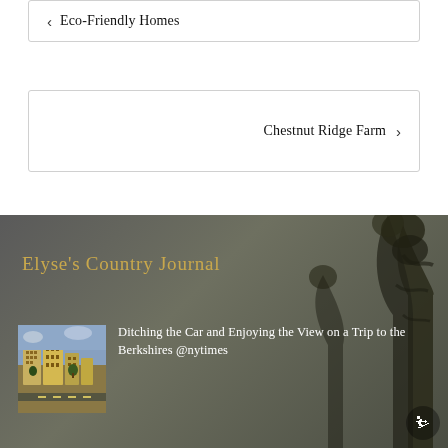← Eco-Friendly Homes
Chestnut Ridge Farm →
Elyse's Country Journal
[Figure (photo): Aerial or elevated view of a city block with buildings]
Ditching the Car and Enjoying the View on a Trip to the Berkshires @nytimes